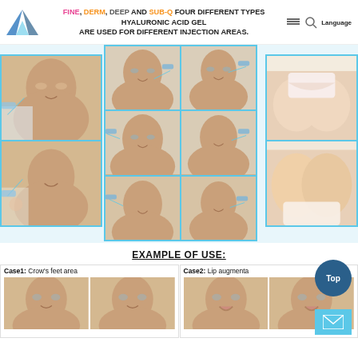FINE, DERM, DEEP AND SUB-Q FOUR DIFFERENT TYPES HYALURONIC ACID GEL ARE USED FOR DIFFERENT INJECTION AREAS.
[Figure (photo): Collage of multiple medical aesthetic injection procedures showing patients receiving hyaluronic acid filler injections in various facial areas. Left panel shows two close-up face shots with injections. Center grid shows six images of facial injection procedures. Right panel shows two body images (chest and buttocks area).]
EXAMPLE OF USE:
Case1: Crow's feet area
Case2: Lip augmentation
[Figure (photo): Before and after photos for Case 1 Crow's feet area - two face photos of a woman]
[Figure (photo): Before and after photos for Case 2 Lip augmentation - two face photos]